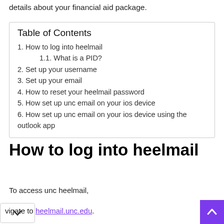details about your financial aid package.
| Table of Contents |
| --- |
| 1. How to log into heelmail |
| 1.1. What is a PID? |
| 2. Set up your username |
| 3. Set up your email |
| 4. How to reset your heelmail password |
| 5. How set up unc email on your ios device |
| 6. How set up unc email on your ios device using the outlook app |
How to log into heelmail
To access unc heelmail,
vigate to heelmail.unc.edu.